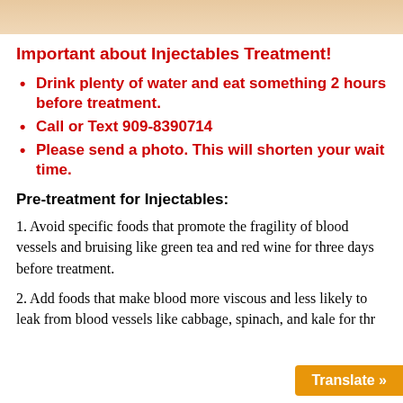[Figure (photo): Partial photo strip at top of page showing skin/body tones]
Important about Injectables Treatment!
Drink plenty of water and eat something 2 hours before treatment.
Call or Text 909-8390714
Please send a photo. This will shorten your wait time.
Pre-treatment for Injectables:
1. Avoid specific foods that promote the fragility of blood vessels and bruising like green tea and red wine for three days before treatment.
2. Add foods that make blood more viscous and less likely to leak from blood vessels like cabbage, spinach, and kale for thr...